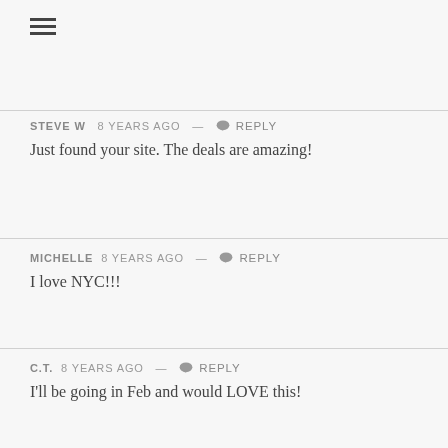STEVE W  8 years ago  —  Reply
Just found your site. The deals are amazing!
MICHELLE  8 years ago  —  Reply
I love NYC!!!
C.T.  8 years ago  —  Reply
I'll be going in Feb and would LOVE this!
QUINCY  8 years ago  —  Reply
I would like to have the discount code. Thanks.